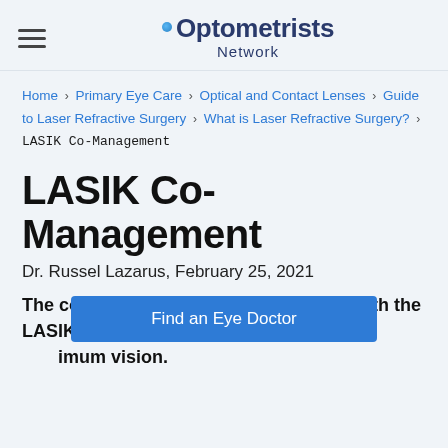Optometrists Network
Home > Primary Eye Care > Optical and Contact Lenses > Guide to Laser Refractive Surgery > What is Laser Refractive Surgery? > LASIK Co-Management
LASIK Co-Management
Dr. Russel Lazarus, February 25, 2021
The combined care of your eye doctor with the LASIK surgeon will ensure you achieve maximum vision.
Find an Eye Doctor